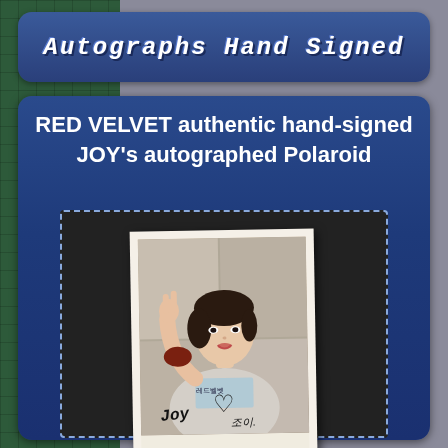Autographs Hand Signed
RED VELVET authentic hand-signed JOY's autographed Polaroid
[Figure (photo): A Polaroid photo of JOY from Red Velvet making a peace sign, with her autograph written on the bottom of the photo. The Polaroid is placed on a dark background with a dashed border frame.]